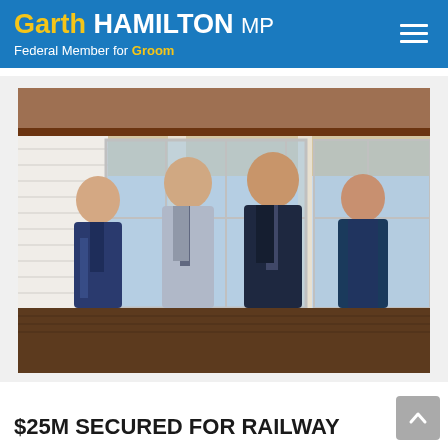Garth HAMILTON MP Federal Member for Groom
[Figure (photo): Four men in suits standing in front of a building with large glass windows and a white weatherboard facade with a timber deck. They appear to be posing for an official photograph.]
$25M SECURED FOR RAILWAY